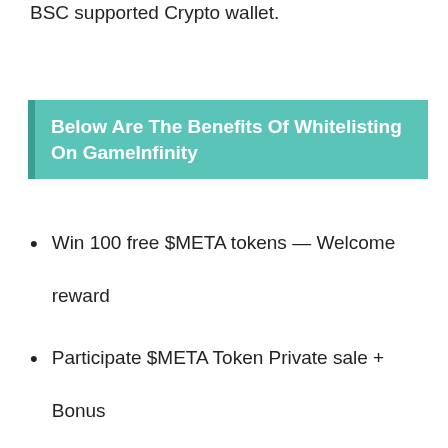BSC supported Crypto wallet.
Below Are The Benefits Of Whitelisting On GameInfinity
Win 100 free $META tokens — Welcome reward
Participate $META Token Private sale + Bonus
Win rewards on each referral
Enjoy Play-To-Earn Web3 Games